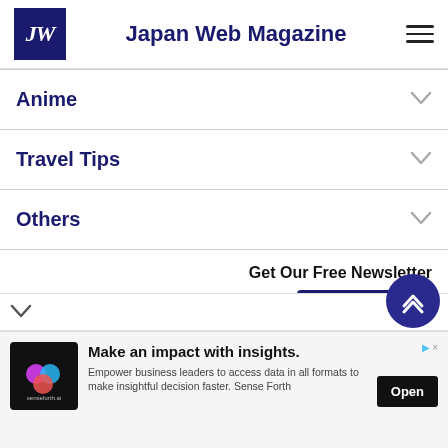JW — Japan Web Magazine
Anime
Travel Tips
Others
Get Our Free Newsletter
Sign Up
[Figure (other): Advertisement: Make an impact with insights. Empower business leaders to access data in all formats to make insightful decision faster. Sense Forth — Open button]